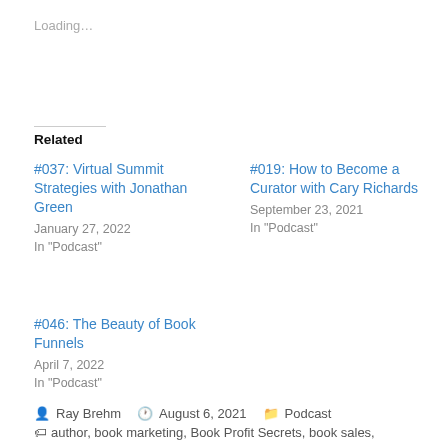Loading…
Related
#037: Virtual Summit Strategies with Jonathan Green
January 27, 2022
In "Podcast"
#019: How to Become a Curator with Cary Richards
September 23, 2021
In "Podcast"
#046: The Beauty of Book Funnels
April 7, 2022
In "Podcast"
Ray Brehm  August 6, 2021  Podcast
author, book marketing, Book Profit Secrets, book sales,